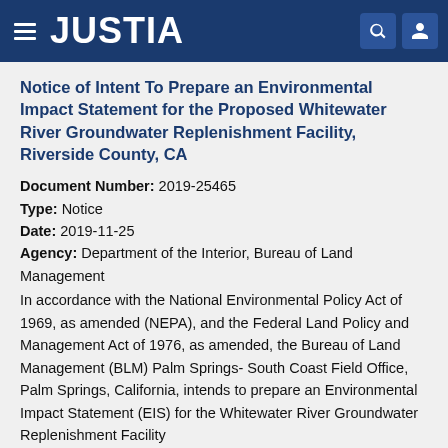JUSTIA
Notice of Intent To Prepare an Environmental Impact Statement for the Proposed Whitewater River Groundwater Replenishment Facility, Riverside County, CA
Document Number: 2019-25465
Type: Notice
Date: 2019-11-25
Agency: Department of the Interior, Bureau of Land Management
In accordance with the National Environmental Policy Act of 1969, as amended (NEPA), and the Federal Land Policy and Management Act of 1976, as amended, the Bureau of Land Management (BLM) Palm Springs- South Coast Field Office, Palm Springs, California, intends to prepare an Environmental Impact Statement (EIS) for the Whitewater River Groundwater Replenishment Facility (project)